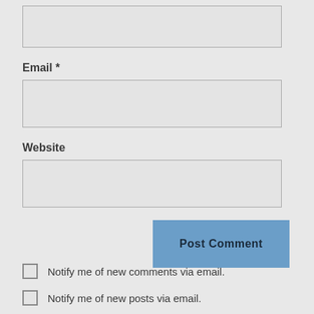[Figure (screenshot): Text input field (empty), top of form]
Email *
[Figure (screenshot): Email text input field (empty)]
Website
[Figure (screenshot): Website text input field (empty)]
[Figure (screenshot): Post Comment button]
Notify me of new comments via email.
Notify me of new posts via email.